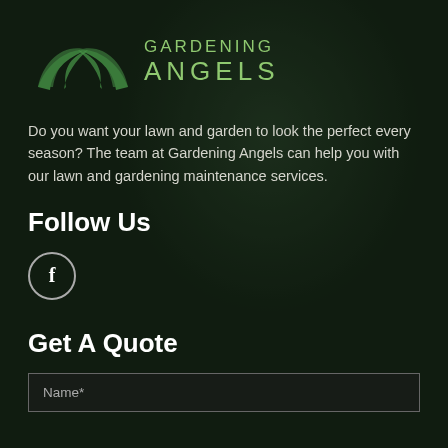[Figure (logo): Gardening Angels logo with two green leaf wings and text GARDENING ANGELS in green]
Do you want your lawn and garden to look the perfect every season? The team at Gardening Angels can help you with our lawn and gardening maintenance services.
Follow Us
[Figure (illustration): Facebook icon — circle with letter f inside]
Get A Quote
Name*